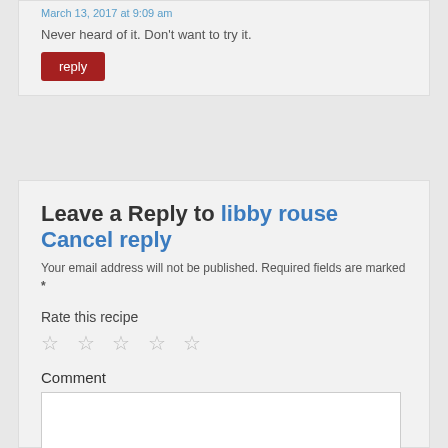March 13, 2017 at 9:09 am
Never heard of it. Don't want to try it.
reply
Leave a Reply to libby rouse Cancel reply
Your email address will not be published. Required fields are marked *
Rate this recipe
☆ ☆ ☆ ☆ ☆
Comment